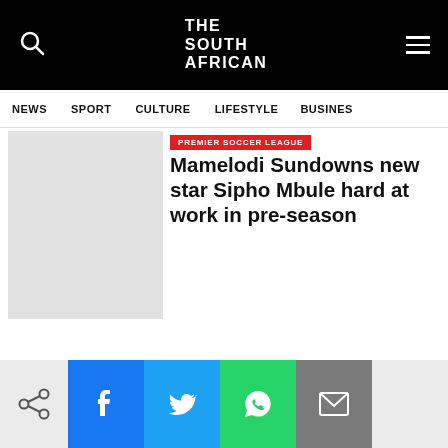THE SOUTH AFRICAN | NEWS | SPORT | CULTURE | LIFESTYLE | BUSINESS
PREMIER SOCCER LEAGUE
Mamelodi Sundowns new star Sipho Mbule hard at work in pre-season
[Figure (screenshot): Social sharing bar with Facebook, Twitter, WhatsApp and Email buttons]